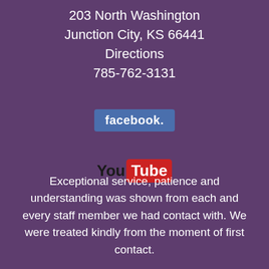203 North Washington
Junction City, KS 66441
Directions
785-762-3131
[Figure (logo): Facebook logo button — blue rounded rectangle with white bold text 'facebook.' ]
[Figure (logo): YouTube logo — black bold 'You' text followed by red rounded rectangle with white bold 'Tube' text]
Exceptional service, patience and understanding was shown from each and every staff member we had contact with. We were treated kindly from the moment of first contact.